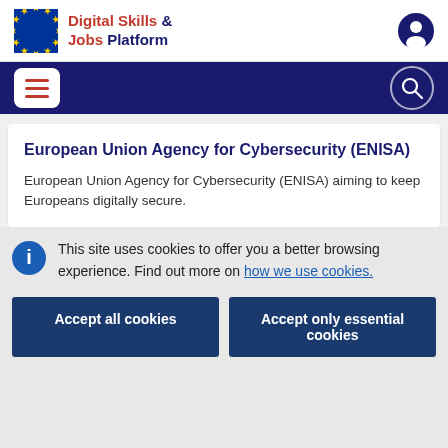Digital Skills & Jobs Platform
European Union Agency for Cybersecurity (ENISA)
European Union Agency for Cybersecurity (ENISA) aiming to keep Europeans digitally secure.
This site uses cookies to offer you a better browsing experience. Find out more on how we use cookies.
Accept all cookies
Accept only essential cookies